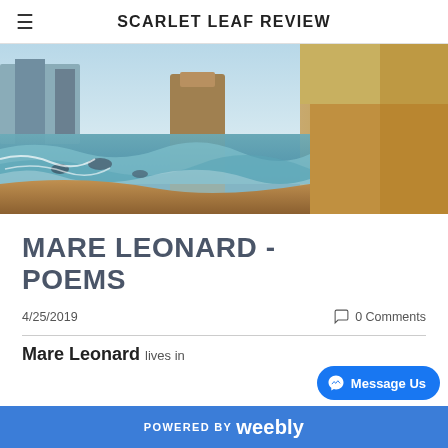SCARLET LEAF REVIEW
[Figure (photo): Coastal landscape with limestone sea stacks and cliffs, waves on sandy beach, blue-green ocean water]
MARE LEONARD - POEMS
4/25/2019
0 Comments
Mare Leonard lives in
POWERED BY weebly